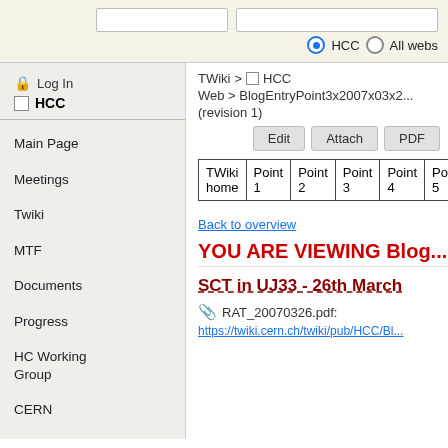Search boxes and HCC / All webs radio button selection
Log In
HCC
Main Page
Meetings
Twiki
MTF
Documents
Progress
HC Working Group
CERN
LHC
TWiki > HCC Web > BlogEntryPoint3x2007x03x2... (revision 1)
| TWiki home | Point 1 | Point 2 | Point 3 | Point 4 | Point 5 | P...6 |
| --- | --- | --- | --- | --- | --- | --- |
Back to overview
YOU ARE VIEWING Blog...
SCT in UJ33 - 26th March
RAT_20070326.pdf:
https://twiki.cern.ch/twiki/pub/HCC/Bl...